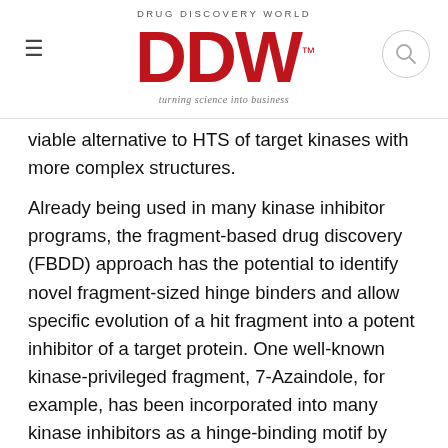DRUG DISCOVERY WORLD DDW turning science into business
viable alternative to HTS of target kinases with more complex structures.
Already being used in many kinase inhibitor programs, the fragment-based drug discovery (FBDD) approach has the potential to identify novel fragment-sized hinge binders and allow specific evolution of a hit fragment into a potent inhibitor of a target protein. One well-known kinase-privileged fragment, 7-Azaindole, for example, has been incorporated into many kinase inhibitors as a hinge-binding motif by making two hydrogen bonds with the kinase hinge region2. Despite advantages such as this, FBDD has two significant intrinsic shortcomings. First, FBDD typically uses compounds with a molecular weight of less than 200 Da. They are likely to have low affinity binding to their receptors and this demands much more sensitive assays than those